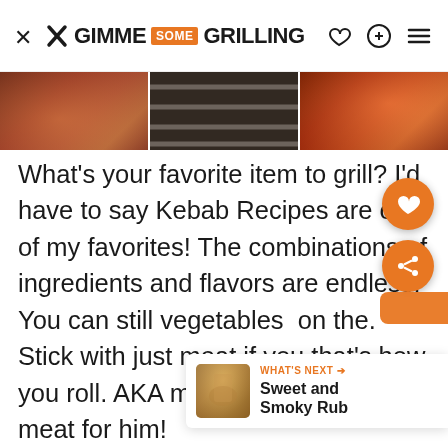GIMME SOME GRILLING
[Figure (photo): Three food/grilling photos side by side: grilled kebab meat on left, grill grates in center, grilled skewers with vegetables on right]
What's your favorite item to grill? I'd have to say Kebab Recipes are one of my favorites! The combinations of ingredients and flavors are endless! You can still vegetables on the. Stick with just meat if you that's how you roll. AKA my hubs. Alllll the meat for him!
[Figure (infographic): Floating action buttons: orange heart/save button and orange share button on right side]
WHAT'S NEXT → Sweet and Smoky Rub